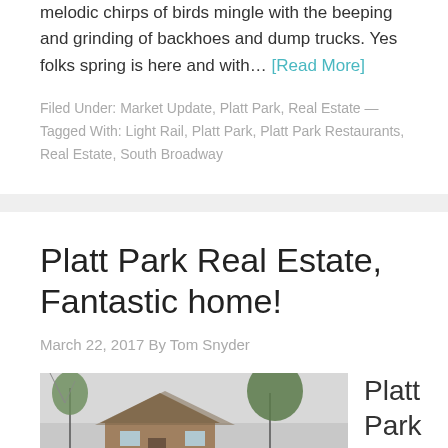melodic chirps of birds mingle with the beeping and grinding of backhoes and dump trucks. Yes folks spring is here and with… [Read More]
Filed Under: Market Update, Platt Park, Real Estate — Tagged With: Light Rail, Platt Park, Platt Park Restaurants, Real Estate, South Broadway
Platt Park Real Estate, Fantastic home!
March 22, 2017 By Tom Snyder
[Figure (photo): Exterior photo of a home with trees, partially visible at the bottom of the page]
Platt Park